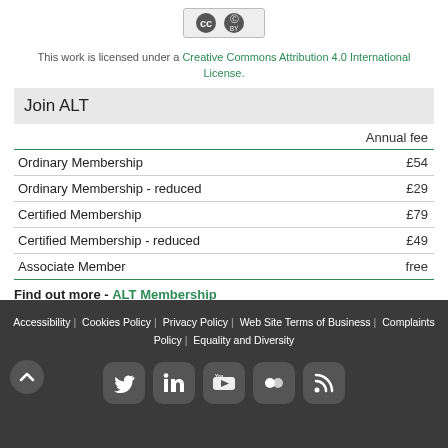[Figure (logo): Creative Commons BY license badge]
This work is licensed under a Creative Commons Attribution 4.0 International License.
Join ALT
|  | Annual fee |
| --- | --- |
| Ordinary Membership | £54 |
| Ordinary Membership - reduced | £29 |
| Certified Membership | £79 |
| Certified Membership - reduced | £49 |
| Associate Member | free |
Find out more - ALT Membership
Accessibility | Cookies Policy | Privacy Policy | Web Site Terms of Business | Complaints Policy | Equality and Diversity